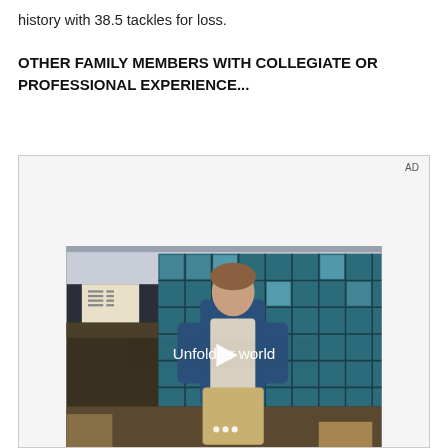history with 38.5 tackles for loss.
OTHER FAMILY MEMBERS WITH COLLEGIATE OR PROFESSIONAL EXPERIENCE...
[Figure (screenshot): Advertisement box with 'AD' label in top-right corner and a video thumbnail showing a young man in a diner setting with blue tile windows in the background. Text overlay reads 'Unfold your world' with a play button icon in the center. Three white dots appear at the bottom of the image.]